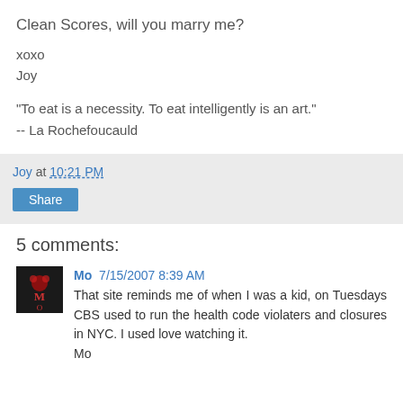Clean Scores, will you marry me?
xoxo
Joy
"To eat is a necessity. To eat intelligently is an art."
-- La Rochefoucauld
Joy at 10:21 PM
Share
5 comments:
Mo 7/15/2007 8:39 AM
That site reminds me of when I was a kid, on Tuesdays CBS used to run the health code violaters and closures in NYC. I used love watching it.
Mo